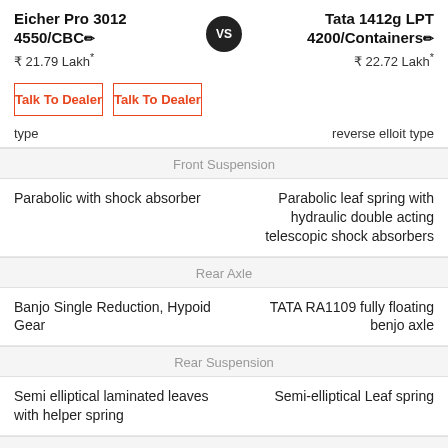Eicher Pro 3012 4550/CBC ₹ 21.79 Lakh*
Tata 1412g LPT 4200/Containers ₹ 22.72 Lakh*
Talk To Dealer
Talk To Dealer
type
reverse elloit type
Front Suspension
Parabolic with shock absorber
Parabolic leaf spring with hydraulic double acting telescopic shock absorbers
Rear Axle
Banjo Single Reduction, Hypoid Gear
TATA RA1109 fully floating benjo axle
Rear Suspension
Semi elliptical laminated leaves with helper spring
Semi-elliptical Leaf spring
ABS